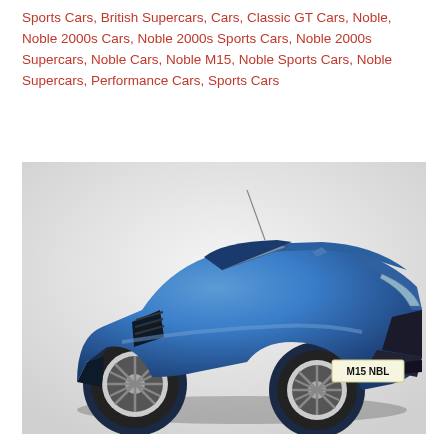Sports Cars, British Supercars, Cars, Classic GT Cars, Noble, Noble 2000s Cars, Noble 2000s Sports Cars, Noble 2000s Supercars, Noble Cars, Noble M15, Noble Sports Cars, Noble Supercars, Performance Cars, Sports Cars
[Figure (photo): A blue Noble M15 sports car photographed from a front three-quarter angle on a white background. The car has a license plate reading M15 NBL.]